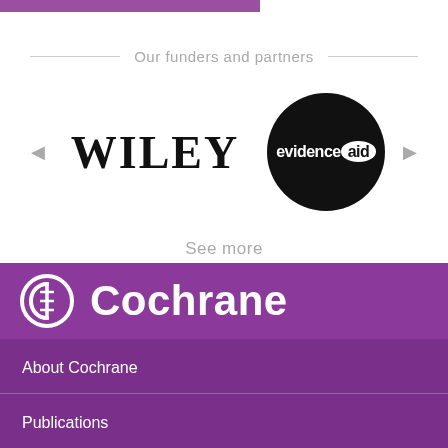[Figure (logo): Purple top bar decorative element]
Our funders and partners
[Figure (logo): WILEY logo in large serif black text and evidenceaid logo in white text on black circle]
See more
[Figure (logo): Cochrane logo: circular C with vertical spine icon in white on purple background, followed by Cochrane in white text]
About Cochrane
Publications